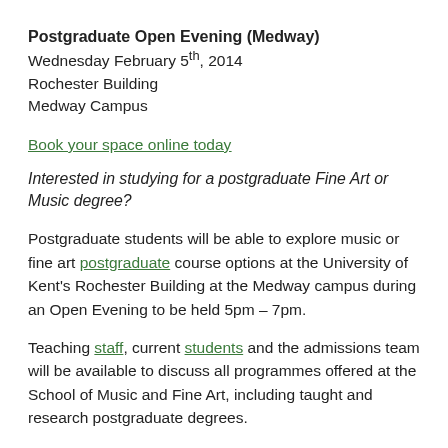Postgraduate Open Evening (Medway)
Wednesday February 5th, 2014
Rochester Building
Medway Campus
Book your space online today
Interested in studying for a postgraduate Fine Art or Music degree?
Postgraduate students will be able to explore music or fine art postgraduate course options at the University of Kent's Rochester Building at the Medway campus during an Open Evening to be held 5pm – 7pm.
Teaching staff, current students and the admissions team will be available to discuss all programmes offered at the School of Music and Fine Art, including taught and research postgraduate degrees.